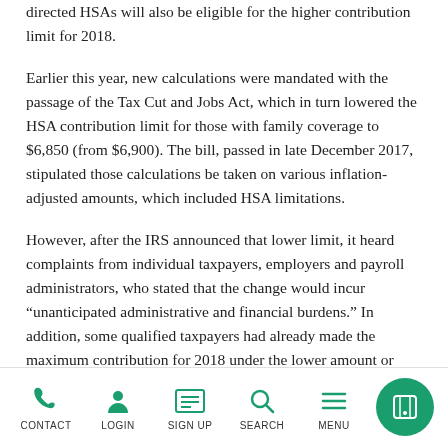directed HSAs will also be eligible for the higher contribution limit for 2018.
Earlier this year, new calculations were mandated with the passage of the Tax Cut and Jobs Act, which in turn lowered the HSA contribution limit for those with family coverage to $6,850 (from $6,900). The bill, passed in late December 2017, stipulated those calculations be taken on various inflation-adjusted amounts, which included HSA limitations.
However, after the IRS announced that lower limit, it heard complaints from individual taxpayers, employers and payroll administrators, who stated that the change would incur “unanticipated administrative and financial burdens.” In addition, some qualified taxpayers had already made the maximum contribution for 2018 under the lower amount or
CONTACT  LOGIN  SIGN UP  SEARCH  MENU